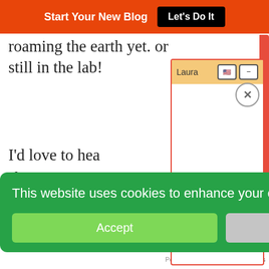Start Your New Blog  Let's Do It
roaming the earth yet. or still in the lab!
[Figure (screenshot): Chat popup with header 'Laura', flag icon, minimize button, and close X circle button on white background with peach/orange header]
I'd love to hea shares.
Blessings,
-Donna
38
[Figure (screenshot): Cookie consent banner: green background with text 'This website uses cookies to enhance your experience & analyze data.' with Accept (green) and Decline (grey) buttons]
Powered by Steady Stream Leads